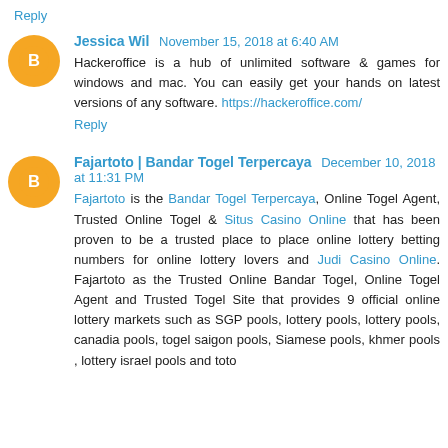Reply
Jessica Wil  November 15, 2018 at 6:40 AM
Hackeroffice is a hub of unlimited software & games for windows and mac. You can easily get your hands on latest versions of any software. https://hackeroffice.com/
Reply
Fajartoto | Bandar Togel Terpercaya  December 10, 2018 at 11:31 PM
Fajartoto is the Bandar Togel Terpercaya, Online Togel Agent, Trusted Online Togel & Situs Casino Online that has been proven to be a trusted place to place online lottery betting numbers for online lottery lovers and Judi Casino Online. Fajartoto as the Trusted Online Bandar Togel, Online Togel Agent and Trusted Togel Site that provides 9 official online lottery markets such as SGP pools, lottery pools, lottery pools, canadia pools, togel saigon pools, Siamese pools, khmer pools , lottery israel pools and toto